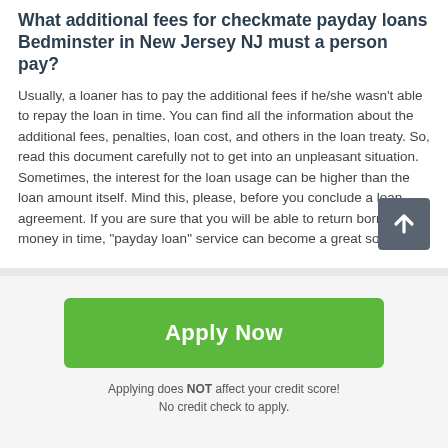What additional fees for checkmate payday loans Bedminster in New Jersey NJ must a person pay?
Usually, a loaner has to pay the additional fees if he/she wasn't able to repay the loan in time. You can find all the information about the additional fees, penalties, loan cost, and others in the loan treaty. So, read this document carefully not to get into an unpleasant situation. Sometimes, the interest for the loan usage can be higher than the loan amount itself. Mind this, please, before you conclude a loan agreement. If you are sure that you will be able to return borrowed money in time, "payday loan" service can become a great solution.
[Figure (other): Scroll-to-top button: dark grey rounded square with a white upward arrow]
Apply Now
Applying does NOT affect your credit score!
No credit check to apply.